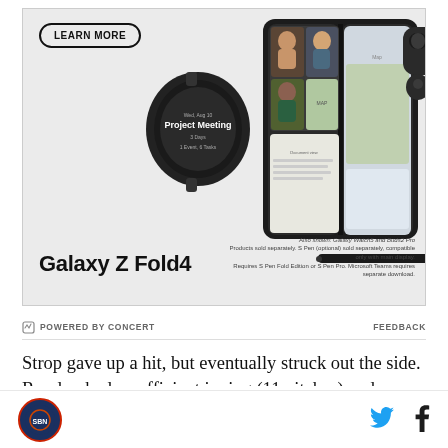[Figure (photo): Samsung Galaxy Z Fold4 advertisement banner showing the Galaxy Z Fold4 smartphone, Galaxy Watch5, Buds2 Pro, and S Pen on a gray background. Shows a video call on the folded phone screen. Includes a 'LEARN MORE' button and text 'Also shown: Galaxy Watch5 and Buds2 Pro. Products sold separately. S Pen (optional) sold separately, compatible only with main display. Requires S Pen Fold Edition or S Pen Pro. Microsoft Teams requires separate download.']
POWERED BY CONCERT
FEEDBACK
Strop gave up a hit, but eventually struck out the side. Rondon had an efficient inning (11 pitches) and recorded his 29th save. One more save for Hector and he will become the 12th pitcher to have a 30-save season for the Cubs. Here's the rest of the list: Randy Myers, Rod Beck, Carlos Marmol, Bruce Sutter, Mitch Williams...
[Figure (logo): Site logo circular badge with red/blue design]
[Figure (logo): Twitter bird icon in blue]
[Figure (logo): Facebook f icon in dark]